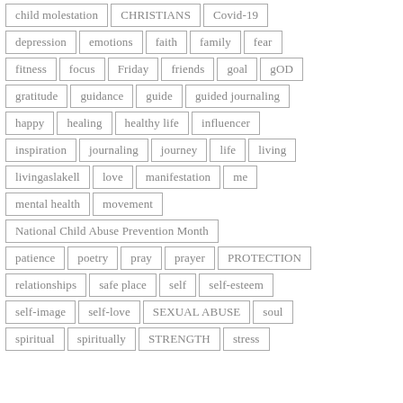child molestation | CHRISTIANS | Covid-19
depression | emotions | faith | family | fear
fitness | focus | Friday | friends | goal | gOD
gratitude | guidance | guide | guided journaling
happy | healing | healthy life | influencer
inspiration | journaling | journey | life | living
livingaslakell | love | manifestation | me
mental health | movement
National Child Abuse Prevention Month
patience | poetry | pray | prayer | PROTECTION
relationships | safe place | self | self-esteem
self-image | self-love | SEXUAL ABUSE | soul
spiritual | spiritually | STRENGTH | stress